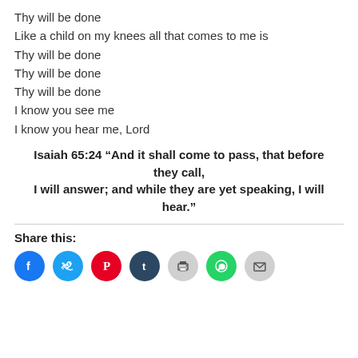Thy will be done
Like a child on my knees all that comes to me is
Thy will be done
Thy will be done
Thy will be done
I know you see me
I know you hear me, Lord
Isaiah 65:24 “And it shall come to pass, that before they call, I will answer; and while they are yet speaking, I will hear.”
Share this:
[Figure (infographic): Share icons: Facebook (blue), Twitter (light blue), Pinterest (red), Tumblr (dark blue), Print (gray), WhatsApp (green), Email (gray)]